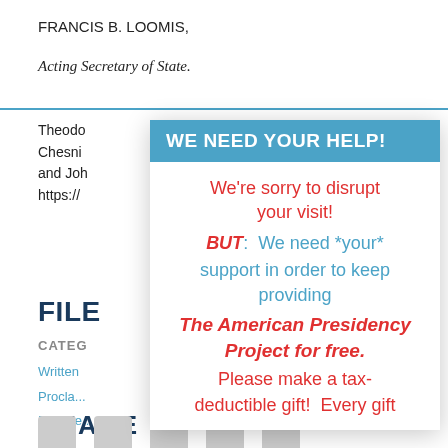FRANCIS B. LOOMIS,
Acting Secretary of State.
Theodore ... of the Chesning ... Peters and Joh... https://...
FILE
CATEG...
Written
Procla...
Preside...
SHARE
[Figure (infographic): We Need Your Help! overlay dialog with donation appeal text in red and blue on white background with teal header]
We're sorry to disrupt your visit! BUT: We need *your* support in order to keep providing The American Presidency Project for free. Please make a tax-deductible gift! Every gift